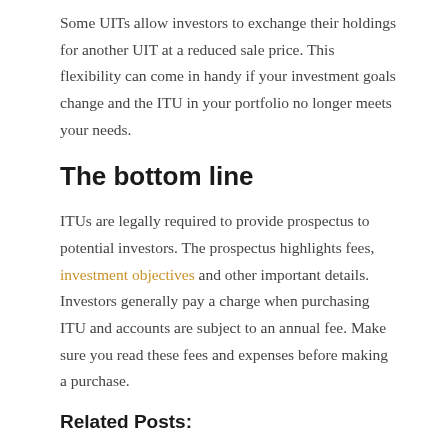Some UITs allow investors to exchange their holdings for another UIT at a reduced sale price. This flexibility can come in handy if your investment goals change and the ITU in your portfolio no longer meets your needs.
The bottom line
ITUs are legally required to provide prospectus to potential investors. The prospectus highlights fees, investment objectives and other important details. Investors generally pay a charge when purchasing ITU and accounts are subject to an annual fee. Make sure you read these fees and expenses before making a purchase.
Related Posts:
Dow Jones Inventory Alternate Right now – Which ETF is Finest Amongst Dow Jones ETFs? | Zoom Fintech